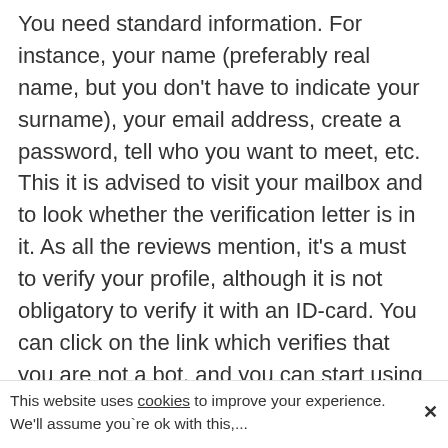You need standard information. For instance, your name (preferably real name, but you don't have to indicate your surname), your email address, create a password, tell who you want to meet, etc. This it is advised to visit your mailbox and to look whether the verification letter is in it. As all the reviews mention, it's a must to verify your profile, although it is not obligatory to verify it with an ID-card. You can click on the link which verifies that you are not a bot, and you can start using the site.
After registration, you will receive 20 credits. Yes, the site uses a different method of receiving revenue. According to the reviews, you don't have to buy a yearly subscription to
This website uses cookies to improve your experience. We'll assume you`re ok with this,...